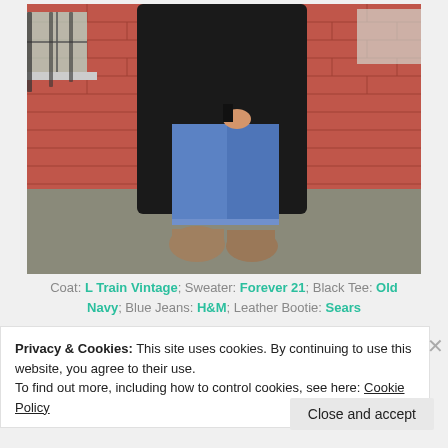[Figure (photo): Person wearing blue jeans, black coat/cardigan, and tan leather booties, standing in front of a red brick wall on a sidewalk.]
Coat: L Train Vintage; Sweater: Forever 21; Black Tee: Old Navy; Blue Jeans: H&M; Leather Bootie: Sears
Privacy & Cookies: This site uses cookies. By continuing to use this website, you agree to their use.
To find out more, including how to control cookies, see here: Cookie Policy